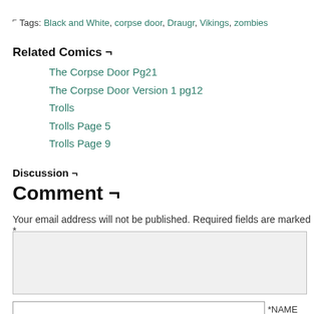⌐ Tags: Black and White, corpse door, Draugr, Vikings, zombies
Related Comics ¬
The Corpse Door Pg21
The Corpse Door Version 1 pg12
Trolls
Trolls Page 5
Trolls Page 9
Discussion ¬
Comment ¬
Your email address will not be published. Required fields are marked *